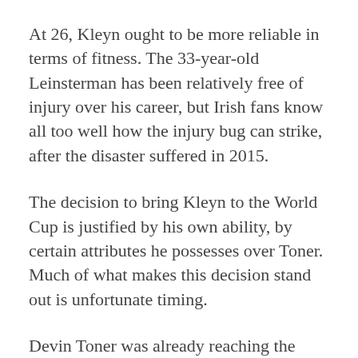At 26, Kleyn ought to be more reliable in terms of fitness. The 33-year-old Leinsterman has been relatively free of injury over his career, but Irish fans know all too well how the injury bug can strike, after the disaster suffered in 2015.
The decision to bring Kleyn to the World Cup is justified by his own ability, by certain attributes he possesses over Toner. Much of what makes this decision stand out is unfortunate timing.
Devin Toner was already reaching the point where his days in an Ireland shirt were numbered. James Ryan and Iain Henderson have been developing a partnership as the first-choice second row. Kleyn has only gained eligibility recently and made his